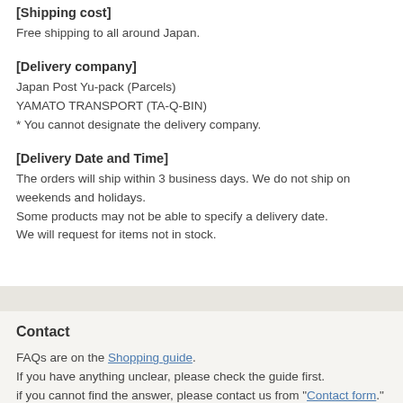[Shipping cost]
Free shipping to all around Japan.
[Delivery company]
Japan Post Yu-pack (Parcels)
YAMATO TRANSPORT (TA-Q-BIN)
* You cannot designate the delivery company.
[Delivery Date and Time]
The orders will ship within 3 business days. We do not ship on weekends and holidays.
Some products may not be able to specify a delivery date.
We will request for items not in stock.
Contact
FAQs are on the Shopping guide.
If you have anything unclear, please check the guide first.
if you cannot find the answer, please contact us from "Contact form."
Business hour : 10:00 am to 5:00 pm JST (UTC+9) (Except Saturdays, Sundays and Japanese holidays)